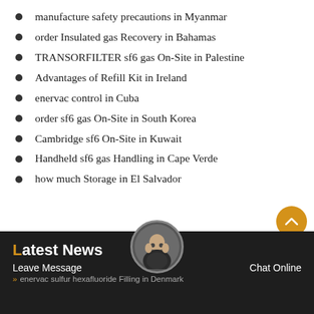manufacture safety precautions in Myanmar
order Insulated gas Recovery in Bahamas
TRANSORFILTER sf6 gas On-Site in Palestine
Advantages of Refill Kit in Ireland
enervac control in Cuba
order sf6 gas On-Site in South Korea
Cambridge sf6 On-Site in Kuwait
Handheld sf6 gas Handling in Cape Verde
how much Storage in El Salvador
Latest News
Leave Message   Chat Online
» enervac sulfur hexafluoride Filling in Denmark